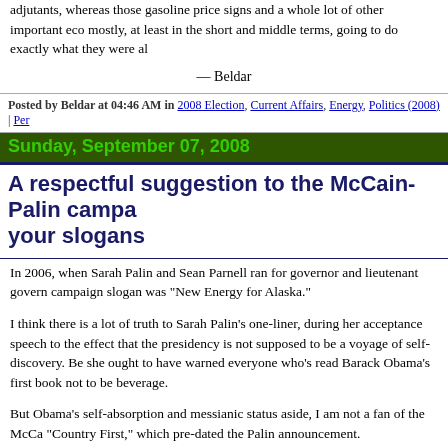adjutants, whereas those gasoline price signs and a whole lot of other important eco... mostly, at least in the short and middle terms, going to do exactly what they were al...
— Beldar
Posted by Beldar at 04:46 AM in 2008 Election, Current Affairs, Energy, Politics (2008) | Per...
Sunday, September 07, 2008
A respectful suggestion to the McCain-Palin campa... your slogans
In 2006, when Sarah Palin and Sean Parnell ran for governor and lieutenant govern... campaign slogan was "New Energy for Alaska."
I think there is a lot of truth to Sarah Palin's one-liner, during her acceptance speech... to the effect that the presidency is not supposed to be a voyage of self-discovery. Be... she ought to have warned everyone who's read Barack Obama's first book not to be... beverage.
But Obama's self-absorption and messianic status aside, I am not a fan of the McCa... "Country First," which pre-dated the Palin announcement.
In his own mind, Barack Obama thinks he would be the best choice for the country,... people agree with him. They find this slogan to be presumptuous and offensive. Th... righteously thunder, "I've got news for you, John McCain, we all put country first."... not true, there's no reason for McCain to let his own campaign slogan furnish his...